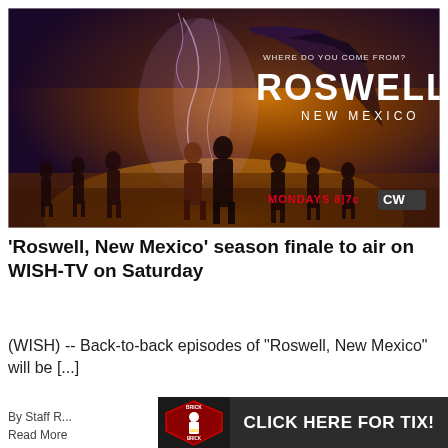[Figure (photo): Promotional poster for 'Roswell, New Mexico' TV show on The CW network. Dark desert landscape at sunset with a glowing DNA helix, rocky mountain formation, and cast of characters walking forward. Text reads 'WHERE DO YOU COME FROM? ROSWELL NEW MEXICO MONDAYS 8|7c CW']
‘Roswell, New Mexico’ season finale to air on WISH-TV on Saturday
(WISH) -- Back-to-back episodes of "Roswell, New Mexico" will be [...]
By Staff R...
Read More
[Figure (infographic): Advertisement banner: Brick By Brick 2022 logo with shield graphic and text 'CLICK HERE FOR TIX!' in large white letters on dark background]